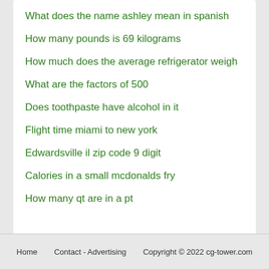What does the name ashley mean in spanish
How many pounds is 69 kilograms
How much does the average refrigerator weigh
What are the factors of 500
Does toothpaste have alcohol in it
Flight time miami to new york
Edwardsville il zip code 9 digit
Calories in a small mcdonalds fry
How many qt are in a pt
Home   Contact - Advertising   Copyright © 2022 cg-tower.com